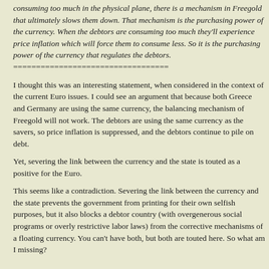consuming too much in the physical plane, there is a mechanism in Freegold that ultimately slows them down. That mechanism is the purchasing power of the currency. When the debtors are consuming too much they'll experience price inflation which will force them to consume less. So it is the purchasing power of the currency that regulates the debtors.
==================================
I thought this was an interesting statement, when considered in the context of the current Euro issues. I could see an argument that because both Greece and Germany are using the same currency, the balancing mechanism of Freegold will not work. The debtors are using the same currency as the savers, so price inflation is suppressed, and the debtors continue to pile on debt.
Yet, severing the link between the currency and the state is touted as a positive for the Euro.
This seems like a contradiction. Severing the link between the currency and the state prevents the government from printing for their own selfish purposes, but it also blocks a debtor country (with overgenerous social programs or overly restrictive labor laws) from the corrective mechanisms of a floating currency. You can't have both, but both are touted here. So what am I missing?